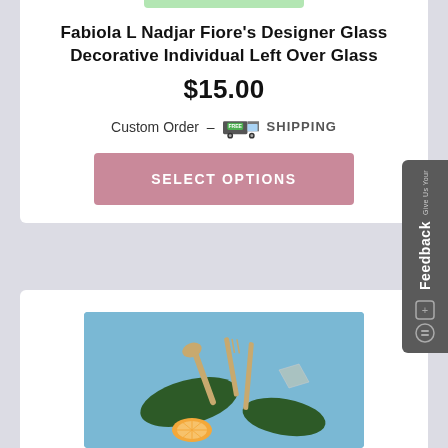Fabiola L Nadjar Fiore's Designer Glass Decorative Individual Left Over Glass
$15.00
Custom Order - FREE SHIPPING
SELECT OPTIONS
[Figure (photo): Product photo showing repurposed glass bottles cut into flat trays/plates, wooden cutlery (fork, spoon, knife), and an orange slice arranged on a blue background]